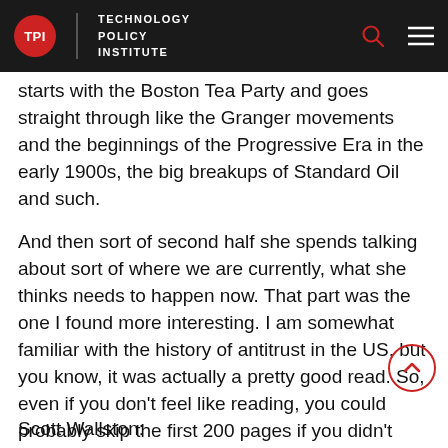TPI | TECHNOLOGY POLICY INSTITUTE
starts with the Boston Tea Party and goes straight through like the Granger movements and the beginnings of the Progressive Era in the early 1900s, the big breakups of Standard Oil and such.
And then sort of second half she spends talking about sort of where we are currently, what she thinks needs to happen now. That part was the one I found more interesting. I am somewhat familiar with the history of antitrust in the US, but you know, it was actually a pretty good read. So, even if you don't feel like reading, you could probably skip the first 200 pages if you didn't want to read the history part, but it was still interesting.
Scott Wallston: